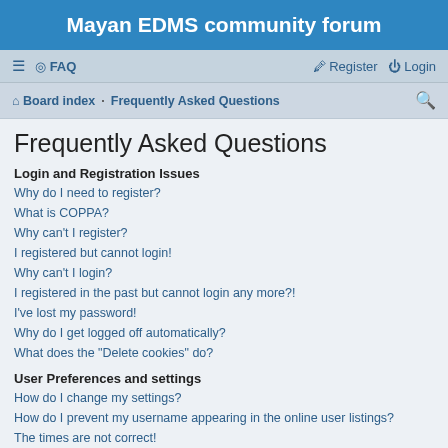Mayan EDMS community forum
☰  FAQ    Register  Login
Board index · Frequently Asked Questions
Frequently Asked Questions
Login and Registration Issues
Why do I need to register?
What is COPPA?
Why can't I register?
I registered but cannot login!
Why can't I login?
I registered in the past but cannot login any more?!
I've lost my password!
Why do I get logged off automatically?
What does the "Delete cookies" do?
User Preferences and settings
How do I change my settings?
How do I prevent my username appearing in the online user listings?
The times are not correct!
I changed the timezone and the time is still wrong!
My language is not in the list!
What are the images next to my username?